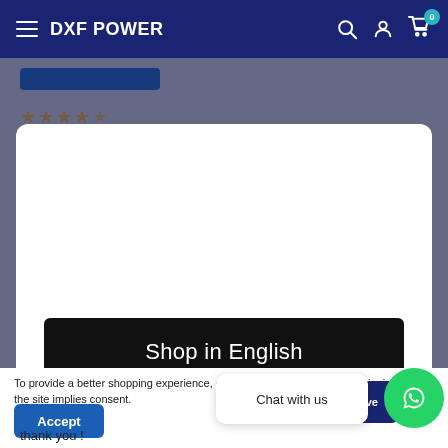DXF POWER
[Figure (screenshot): Website screenshot showing DXF POWER e-commerce site with a language selection modal overlay displaying 'Shop in English' button, cookie consent bar with Accept button, and WhatsApp Chat with us widget.]
To provide a better shopping experience, our website uses cookies. Continuing use of the site implies consent.
Accept
Chat with us
thank you !